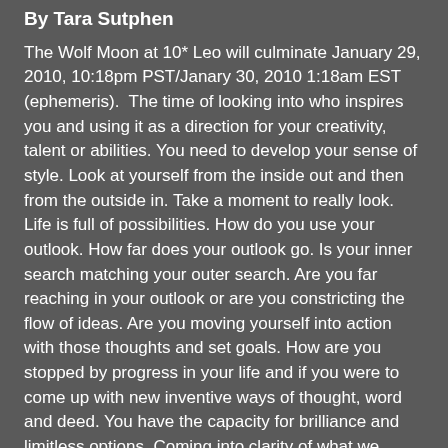By Tara Sutphen
The Wolf Moon at 10* Leo will culminate January 29, 2010, 10:18pm PST/Janary 30, 2010 1:18am EST (ephemeris). The time of looking into who inspires you and using it as a direction for your creativity, talent or abilities. You need to develop your sense of style. Look at yourself from the inside out and then from the outside in. Take a moment to really look. Life is full of possibilities. How do you use your outlook. How far does your outlook go. Is your inner search matching your outer search. Are you far reaching in your outlook or are you constricting the flow of ideas. Are you moving yourself into action with those thoughts and set goals. How are you stopped by progress in your life and if you were to come up with new inventive ways of thought, word and deed. You have the capacity for brilliance and limitless options. Coming into clarity of what we really need in our lives. It's time of creation. What would you like to